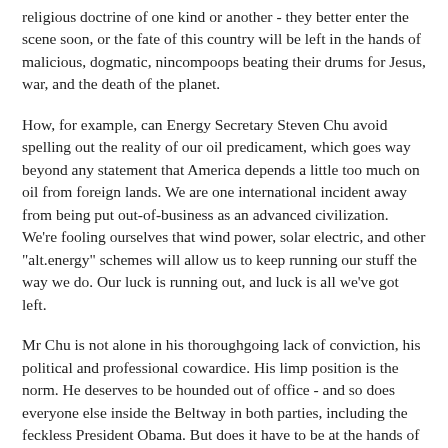religious doctrine of one kind or another - they better enter the scene soon, or the fate of this country will be left in the hands of malicious, dogmatic, nincompoops beating their drums for Jesus, war, and the death of the planet.
How, for example, can Energy Secretary Steven Chu avoid spelling out the reality of our oil predicament, which goes way beyond any statement that America depends a little too much on oil from foreign lands. We are one international incident away from being put out-of-business as an advanced civilization. We're fooling ourselves that wind power, solar electric, and other "alt.energy" schemes will allow us to keep running our stuff the way we do. Our luck is running out, and luck is all we've got left.
Mr Chu is not alone in his thoroughgoing lack of conviction, his political and professional cowardice. His limp position is the norm. He deserves to be hounded out of office - and so does everyone else inside the Beltway in both parties, including the feckless President Obama. But does it have to be at the hands of ignorant yahoos like Sarah Palin and Rush Limbaugh? (Can you imagine what James Madison